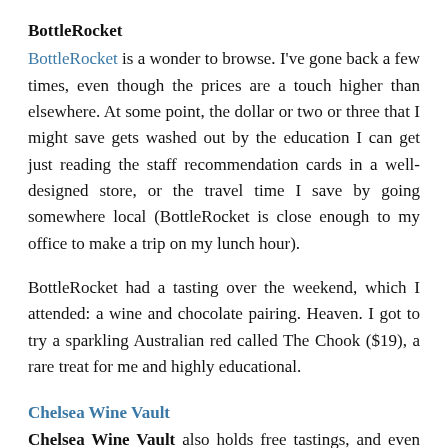BottleRocket
BottleRocket is a wonder to browse. I've gone back a few times, even though the prices are a touch higher than elsewhere. At some point, the dollar or two or three that I might save gets washed out by the education I can get just reading the staff recommendation cards in a well-designed store, or the travel time I save by going somewhere local (BottleRocket is close enough to my office to make a trip on my lunch hour).
BottleRocket had a tasting over the weekend, which I attended: a wine and chocolate pairing. Heaven. I got to try a sparkling Australian red called The Chook ($19), a rare treat for me and highly educational.
Chelsea Wine Vault
Chelsea Wine Vault also holds free tastings, and even more often than BottleRocket. The selection is geographically comprehensive as well as a bit more